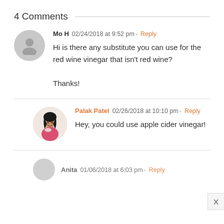4 Comments
Mo H  02/24/2018 at 9:52 pm - Reply
Hi is there any substitute you can use for the red wine vinegar that isn't red wine?

Thanks!
Palak Patel  02/26/2018 at 10:10 pm - Reply
Hey, you could use apple cider vinegar!
Anita  01/06/2018 at 6:03 pm - Reply